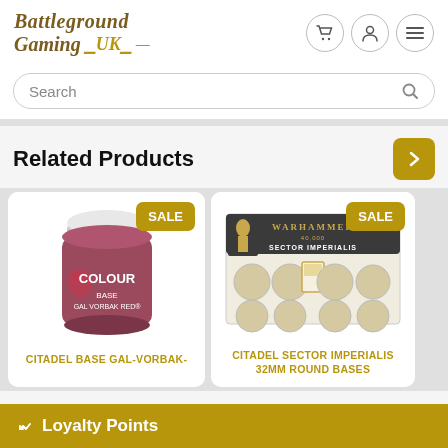Battleground Gaming UK
Search
Related Products
[Figure (photo): Citadel Base Gal Vorbak Red paint pot with SALE badge]
CITADEL BASE GAL-VORBAK-
[Figure (photo): Citadel Sector Imperialis 32mm Round Bases box with SALE badge]
CITADEL SECTOR IMPERIALIS 32MM ROUND BASES
Loyalty Points